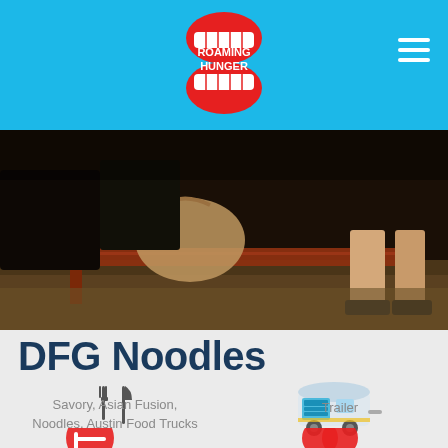Roaming Hunger
[Figure (photo): Dark nighttime photo showing people seated at wooden bench/table, one person with a tan bag visible, another with bare legs on the right side]
DFG Noodles
[Figure (illustration): Fork and knife cutlery icon in dark gray]
Savory, Asian Fusion, Noodles, Austin Food Trucks
[Figure (illustration): Food trailer / caravan icon in blue, yellow and white]
Trailer